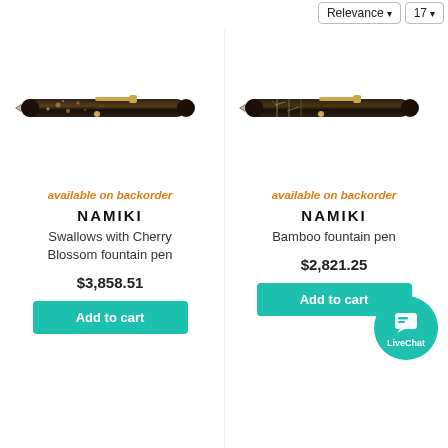Relevance ▾  17 ▾
[Figure (photo): Namiki Swallows with Cherry Blossom fountain pen — dark lacquer body with cherry blossom artwork and gold clip, shown horizontally]
available on backorder
NAMIKI
Swallows with Cherry Blossom fountain pen
$3,858.51
Add to cart
[Figure (photo): Namiki Bamboo fountain pen — dark lacquer body with bamboo artwork and gold clip, shown horizontally]
available on backorder
NAMIKI
Bamboo fountain pen
$2,821.25
Add to cart